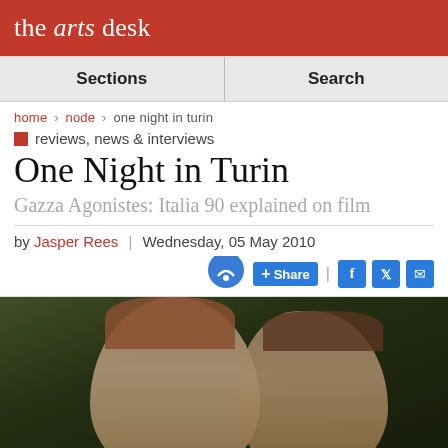the arts desk
Sections | Search
home > node > one night in turin
reviews, news & interviews
One Night in Turin
Gazza Agonistes: Italia 90 explained on film
by Jasper Rees | Wednesday, 05 May 2010
[Figure (photo): Two football players photographed close up, facing slightly away from each other. Dark blurred background suggesting a stadium/pitch.]